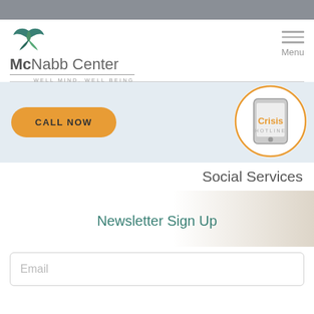[Figure (logo): McNabb Center logo with bird/leaf icon and tagline WELL MIND, WELL BEING]
[Figure (other): Hamburger menu icon with 'Menu' label]
[Figure (other): Orange CALL NOW button banner on light blue background]
[Figure (other): Crisis Hotline circular badge with phone icon]
Social Services
Newsletter Sign Up
Email